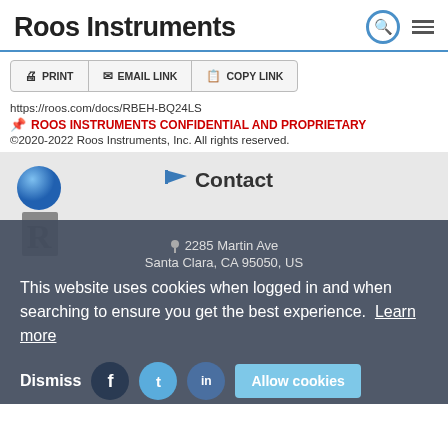Roos Instruments
PRINT   EMAIL LINK   COPY LINK
https://roos.com/docs/RBEH-BQ24LS
ROOS INSTRUMENTS CONFIDENTIAL AND PROPRIETARY
©2020-2022 Roos Instruments, Inc. All rights reserved.
Contact
2285 Martin Ave
Santa Clara, CA 95050, US
support@roos.com
48-8589
This website uses cookies when logged in and when searching to ensure you get the best experience. Learn more
Dismiss   Allow cookies